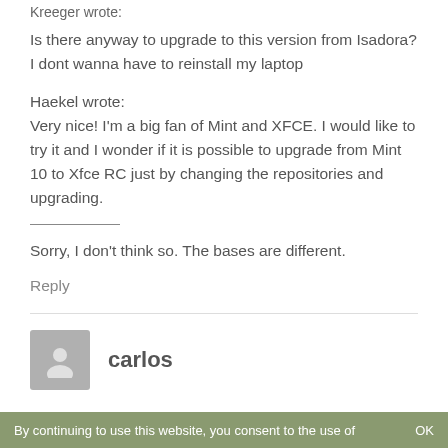Kreeger wrote:
Is there anyway to upgrade to this version from Isadora? I dont wanna have to reinstall my laptop
Haekel wrote:
Very nice! I'm a big fan of Mint and XFCE. I would like to try it and I wonder if it is possible to upgrade from Mint 10 to Xfce RC just by changing the repositories and upgrading.
Sorry, I don't think so. The bases are different.
Reply
carlos
By continuing to use this website, you consent to the use of   OK